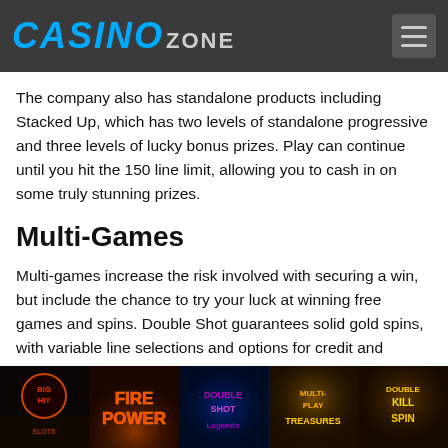CASINO ZONE
The company also has standalone products including Stacked Up, which has two levels of standalone progressive and three levels of lucky bonus prizes. Play can continue until you hit the 150 line limit, allowing you to cash in on some truly stunning prizes.
Multi-Games
Multi-games increase the risk involved with securing a win, but include the chance to try your luck at winning free games and spins. Double Shot guarantees solid gold spins, with variable line selections and options for credit and matching options. Its five credits per line buy-in fee can pay off quickly and efficiently.
[Figure (photo): Strip of five casino game thumbnails: Big Hit, Fire Power, Double Shot Legends, Multi-play Treasures, Double-up Kill Spin]